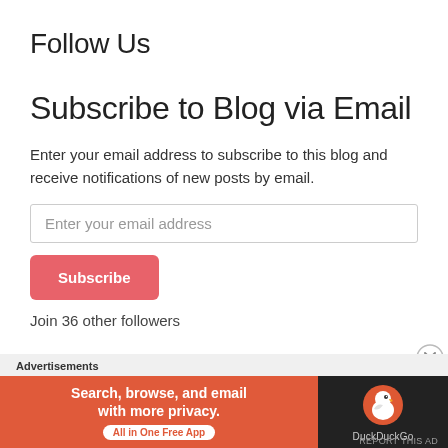Follow Us
Subscribe to Blog via Email
Enter your email address to subscribe to this blog and receive notifications of new posts by email.
Enter your email address
Subscribe
Join 36 other followers
Advertisements
[Figure (other): DuckDuckGo advertisement banner: 'Search, browse, and email with more privacy. All in One Free App' with DuckDuckGo logo on dark background]